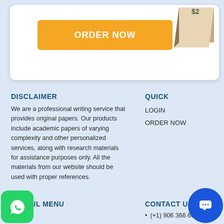[Figure (illustration): Orange ORDER NOW button on white card with decorative book graphic top right]
DISCLAIMER
We are a professional writing service that provides original papers. Our products include academic papers of varying complexity and other personalized services, along with research materials for assistance purposes only. All the materials from our website should be used with proper references.
QUICK
LOGIN
ORDER NOW
USEFUL MENU
Home
Services
Writing
ework
Finance Essay
CONTACT US:
(+1) 906 366 6695